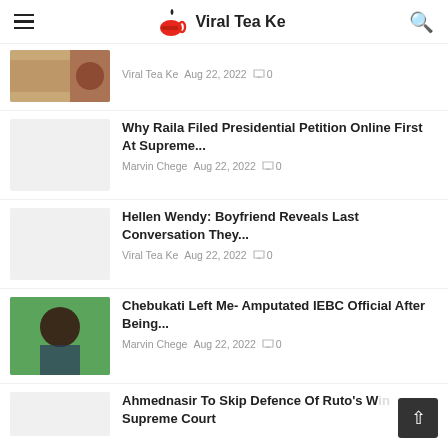Viral Tea Ke
Viral Tea Ke  Aug 22, 2022  0
Why Raila Filed Presidential Petition Online First At Supreme...
Marvin Chege  Aug 22, 2022  0
Hellen Wendy: Boyfriend Reveals Last Conversation They...
Viral Tea Ke  Aug 22, 2022  0
Chebukati Left Me- Amputated IEBC Official After Being...
Marvin Chege  Aug 22, 2022  0
Ahmednasir To Skip Defence Of Ruto's Win At Supreme Court